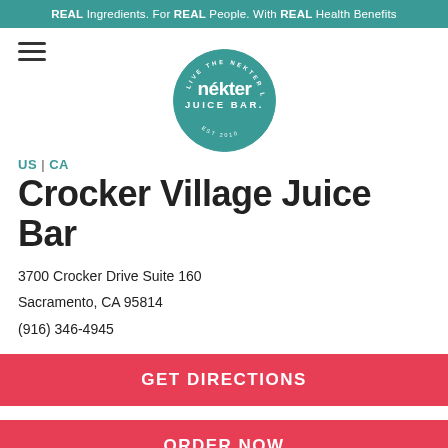REAL Ingredients. For REAL People. With REAL Health Benefits
[Figure (logo): Nékter Juice Bar circular teal logo with text 'LIVE THE NEKTER LIFE', 'nékter JUICE BAR.', 'EST 2010']
US | CA
Crocker Village Juice Bar
3700 Crocker Drive Suite 160
Sacramento, CA 95814
(916) 346-4945
GET DIRECTIONS
ORDER NOW